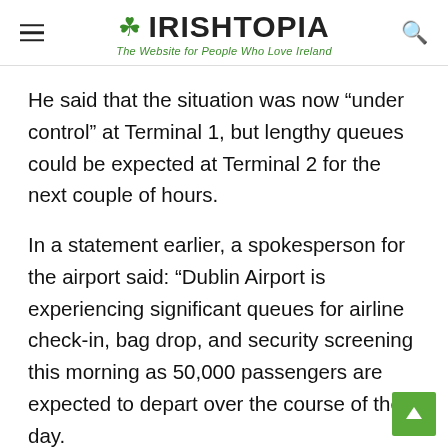☘ IRISHTOPIA — The Website for People Who Love Ireland
He said that the situation was now “under control” at Terminal 1, but lengthy queues could be expected at Terminal 2 for the next couple of hours.
In a statement earlier, a spokesperson for the airport said: “Dublin Airport is experiencing significant queues for airline check-in, bag drop, and security screening this morning as 50,000 passengers are expected to depart over the course of the day.
“Queuing outside both terminals has been deployed since early morning as part of Dublin Airport’s